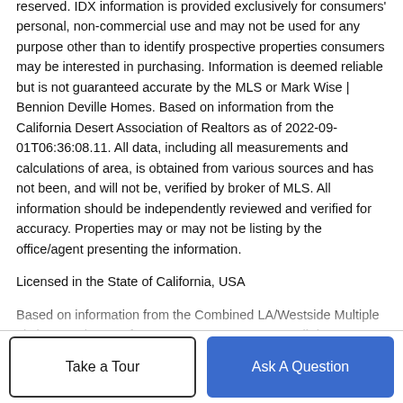reserved. IDX information is provided exclusively for consumers' personal, non-commercial use and may not be used for any purpose other than to identify prospective properties consumers may be interested in purchasing. Information is deemed reliable but is not guaranteed accurate by the MLS or Mark Wise | Bennion Deville Homes. Based on information from the California Desert Association of Realtors as of 2022-09-01T06:36:08.11. All data, including all measurements and calculations of area, is obtained from various sources and has not been, and will not be, verified by broker of MLS. All information should be independently reviewed and verified for accuracy. Properties may or may not be listing by the office/agent presenting the information.
Licensed in the State of California, USA
Based on information from the Combined LA/Westside Multiple Listing Service as of 2022-09-01T06:44:41.427. All data, including all measurements and calculations of area, is obtained from various sources and has not been, and will not be, verified by